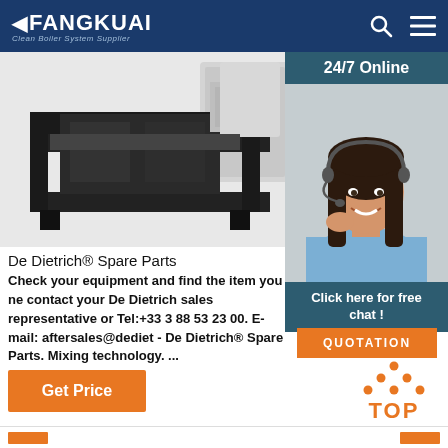FANGKUAI - Clean Boiler System Supplier
[Figure (photo): Industrial boiler/heating equipment on black frame, partial view of white unit on right]
[Figure (photo): 24/7 Online customer service representative - smiling woman with headset]
24/7 Online
Click here for free chat !
QUOTATION
De Dietrich® Spare Parts
Check your equipment and find the item you need or contact your De Dietrich sales representative or Tel:+33 3 88 53 23 00. E-mail: aftersales@dediet... - De Dietrich® Spare Parts. Mixing technology. ...
Get Price
[Figure (infographic): TOP button with orange dots forming upward arrow above orange TOP text]